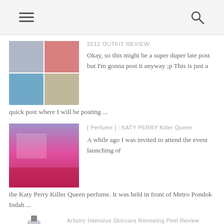Navigation bar with menu and search icons
2012 OUTFIT REVIEW
Okay, so this might be a super duper late post but I'm gonna post it anyway ;p This is just a quick post where I will be posting ...
[ Perfume ] : KATY PERRY Killer Queen
A while ago I was invited to attend the event launching of the Katy Perry Killer Queen perfume. It was held in front of Metro Pondok Indah ...
Artistry Intensive Skincare Renewing Peel Review
If you read this blog regularly